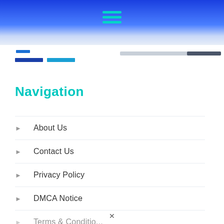[Figure (screenshot): Website navigation menu overlay showing a header with blue gradient background and hamburger menu icon in teal, followed by navigation links]
Navigation
About Us
Contact Us
Privacy Policy
DMCA Notice
Terms & Conditions (partial)